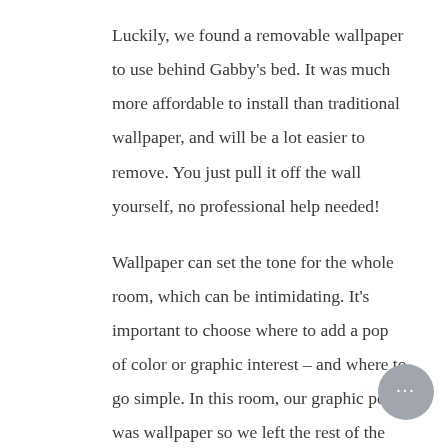Luckily, we found a removable wallpaper to use behind Gabby's bed. It was much more affordable to install than traditional wallpaper, and will be a lot easier to remove. You just pull it off the wall yourself, no professional help needed!
Wallpaper can set the tone for the whole room, which can be intimidating. It's important to choose where to add a pop of color or graphic interest – and where to go simple. In this room, our graphic pop was wallpaper so we left the rest of the furnishings